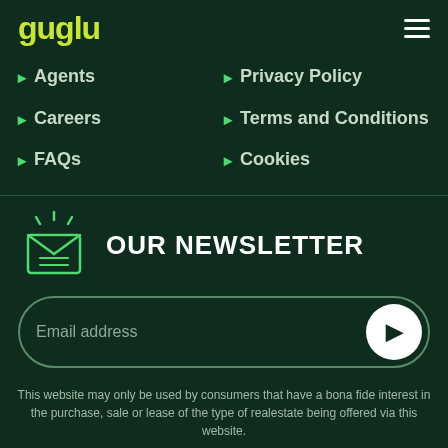guglu
Agents
Careers
FAQs
Privacy Policy
Terms and Conditions
Cookies
OUR NEWSLETTER
Email address
This website may only be used by consumers that have a bona fide interest in the purchase, sale or lease of the type of realestate being offered via this website.